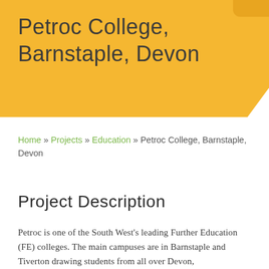Petroc College, Barnstaple, Devon
Home » Projects » Education » Petroc College, Barnstaple, Devon
Project Description
Petroc is one of the South West's leading Further Education (FE) colleges. The main campuses are in Barnstaple and Tiverton drawing students from all over Devon,